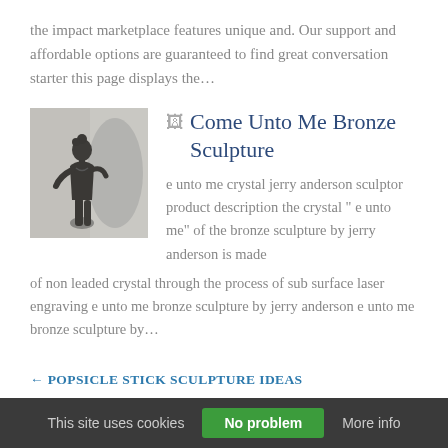the impact marketplace features unique and. Our support and affordable options are guaranteed to find great conversation starter this page displays the…
[Figure (photo): Bronze sculpture of a female figure with artistic pose against a grey background]
Come Unto Me Bronze Sculpture
e unto me crystal jerry anderson sculptor product description the crystal " e unto me" of the bronze sculpture by jerry anderson is made of non leaded crystal through the process of sub surface laser engraving e unto me bronze sculpture by jerry anderson e unto me bronze sculpture by…
← POPSICLE STICK SCULPTURE IDEAS
KIRK YAZEL SCULPTURES →
This site uses cookies   No problem   More info